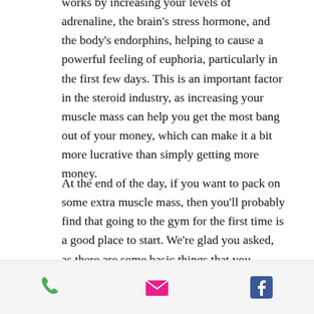works by increasing your levels of adrenaline, the brain's stress hormone, and the body's endorphins, helping to cause a powerful feeling of euphoria, particularly in the first few days. This is an important factor in the steroid industry, as increasing your muscle mass can help you get the most bang out of your money, which can make it a bit more lucrative than simply getting more money.
At the end of the day, if you want to pack on some extra muscle mass, then you'll probably find that going to the gym for the first time is a good place to start. We're glad you asked, as there are some basic things that you should expect as you get acquainted with anabolic steroids.
Anabolic Steroids and Exercise